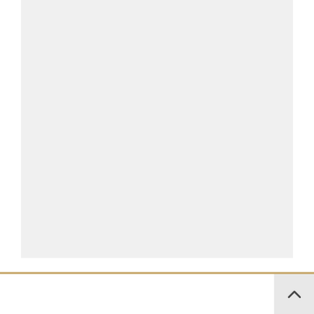LIKE ME ON FACEBOOK
[Figure (other): Empty light gray Facebook widget placeholder box]
YOU ARE READING
Hormonal Upheaval...